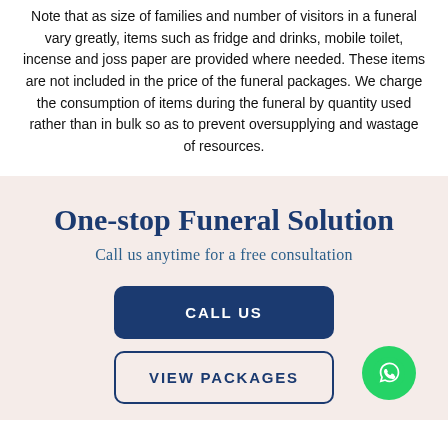Note that as size of families and number of visitors in a funeral vary greatly, items such as fridge and drinks, mobile toilet, incense and joss paper are provided where needed. These items are not included in the price of the funeral packages. We charge the consumption of items during the funeral by quantity used rather than in bulk so as to prevent oversupplying and wastage of resources.
One-stop Funeral Solution
Call us anytime for a free consultation
CALL US
VIEW PACKAGES